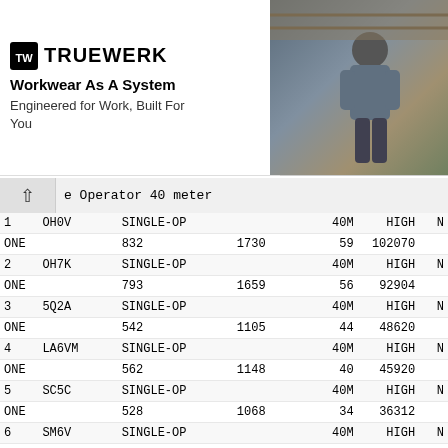[Figure (photo): TRUEWERK advertisement banner: logo on left with tagline 'Workwear As A System / Engineered for Work, Built For You', photo of a worker on the right]
e Operator 40 meter
| # | Call | Category | Band | Power | N | QSO | Mults | Points |
| --- | --- | --- | --- | --- | --- | --- | --- | --- |
| 1 | OH0V | SINGLE-OP | 40M | HIGH | N |  |  |  |
| ONE |  | 832 | 1730 | 59 | 102070 |  |  |  |
| 2 | OH7K | SINGLE-OP | 40M | HIGH | N |  |  |  |
| ONE |  | 793 | 1659 | 56 | 92904 |  |  |  |
| 3 | 5Q2A | SINGLE-OP | 40M | HIGH | N |  |  |  |
| ONE |  | 542 | 1105 | 44 | 48620 |  |  |  |
| 4 | LA6VM | SINGLE-OP | 40M | HIGH | N |  |  |  |
| ONE |  | 562 | 1148 | 40 | 45920 |  |  |  |
| 5 | SC5C | SINGLE-OP | 40M | HIGH | N |  |  |  |
| ONE |  | 528 | 1068 | 34 | 36312 |  |  |  |
| 6 | SM6V | SINGLE-OP | 40M | HIGH | N |  |  |  |
| ONE |  | 411 | 836 | 37 | 30932 |  |  |  |
| 7 | OU4O | SINGLE-OP | 40M | HIGH | N |  |  |  |
| ONE |  | 379 | 771 | 37 | 28527 |  |  |  |
| 8 | LA7MFA | SINGLE-OP | 40M | HIGH | N |  |  |  |
| ONE |  | 361 | 732 | 32 | 23424 |  |  |  |
| 9 | OU2W | SINGLE-OP | 40M | HIGH | N |  |  |  |